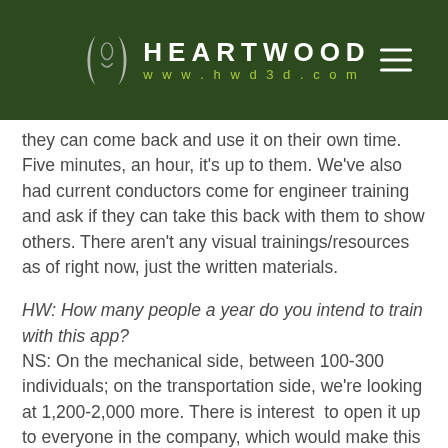[Figure (logo): Heartwood logo with stylized face/mask icon in white, company name HEARTWOOD in white block letters with tracking, URL www.hwd3d.com in yellow-green, hamburger menu icon on right, all on dark green background]
they can come back and use it on their own time. Five minutes, an hour, it's up to them. We've also had current conductors come for engineer training and ask if they can take this back with them to show others. There aren't any visual trainings/resources as of right now, just the written materials.
HW: How many people a year do you intend to train with this app? NS: On the mechanical side, between 100-300 individuals; on the transportation side, we're looking at 1,200-2,000 more. There is interest to open it up to everyone in the company, which would make this available to